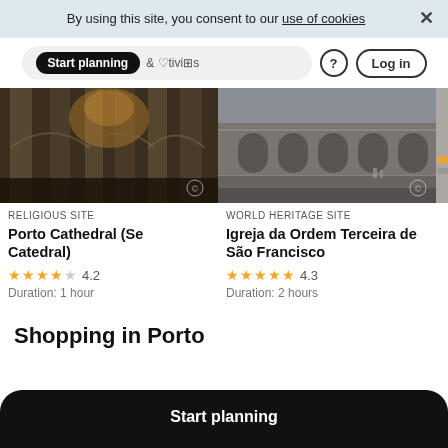By using this site, you consent to our use of cookies
[Figure (screenshot): Navigation bar with 'Start planning' pill button, favorites/activities icons, help icon, and Log in button]
[Figure (photo): Interior of Porto Cathedral (Se Catedral) showing gothic columns and arches]
RELIGIOUS SITE
Porto Cathedral (Se Catedral)
4.2
Duration: 1 hour
[Figure (photo): Exterior facade of Igreja da Ordem Terceira de São Francisco in Porto]
WORLD HERITAGE SITE
Igreja da Ordem Terceira de São Francisco
4.3
Duration: 2 hours
Start planning